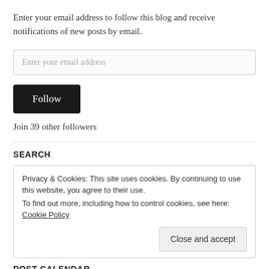Enter your email address to follow this blog and receive notifications of new posts by email.
Enter your email address
Follow
Join 39 other followers
SEARCH
Privacy & Cookies: This site uses cookies. By continuing to use this website, you agree to their use.
To find out more, including how to control cookies, see here: Cookie Policy
Close and accept
POST CALENDAR